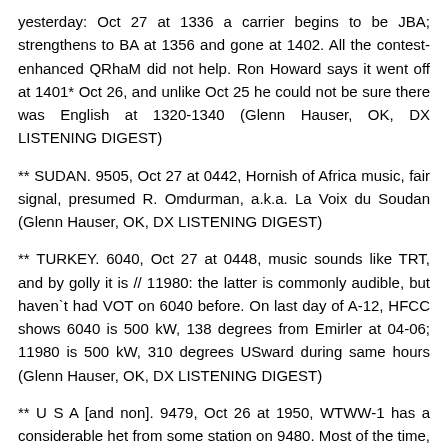yesterday: Oct 27 at 1336 a carrier begins to be JBA; strengthens to BA at 1356 and gone at 1402. All the contest-enhanced QRhaM did not help. Ron Howard says it went off at 1401* Oct 26, and unlike Oct 25 he could not be sure there was English at 1320-1340 (Glenn Hauser, OK, DX LISTENING DIGEST)
** SUDAN. 9505, Oct 27 at 0442, Hornish of Africa music, fair signal, presumed R. Omdurman, a.k.a. La Voix du Soudan (Glenn Hauser, OK, DX LISTENING DIGEST)
** TURKEY. 6040, Oct 27 at 0448, music sounds like TRT, and by golly it is // 11980: the latter is commonly audible, but haven`t had VOT on 6040 before. On last day of A-12, HFCC shows 6040 is 500 kW, 138 degrees from Emirler at 04-06; 11980 is 500 kW, 310 degrees USward during same hours (Glenn Hauser, OK, DX LISTENING DIGEST)
** U S A [and non]. 9479, Oct 26 at 1950, WTWW-1 has a considerable het from some station on 9480. Most of the time, in North America with its super-signal, WTWW gets away with this deliberate off-frequency operation which was authorized in order to move a high-order harmonic of 9480 off a nearby VHF 2-way frequency for school bus communications. But HFCC A-12 shows at 18-20, CRI French via Albania is on 9480